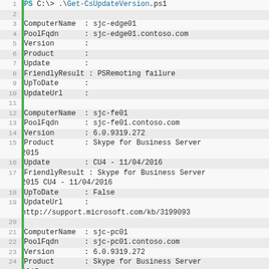[Figure (screenshot): PowerShell terminal output showing Get-CsUpdateVersion.ps1 script results for three computers: sjc-edge01 (PSRemoting failure), sjc-fe01 (Skype for Business Server 2015 CU4), and sjc-pc01 (Skype for Business Server 2015 CU4)]